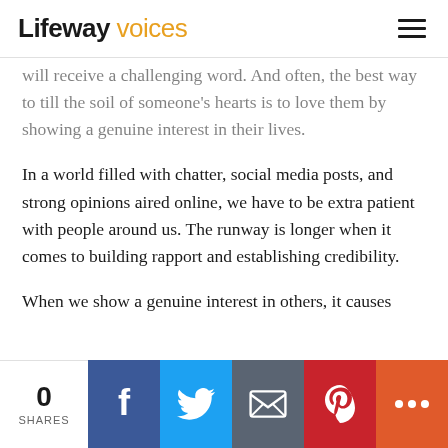Lifeway voices
will receive a challenging word. And often, the best way to till the soil of someone's hearts is to love them by showing a genuine interest in their lives.
In a world filled with chatter, social media posts, and strong opinions aired online, we have to be extra patient with people around us. The runway is longer when it comes to building rapport and establishing credibility.
When we show a genuine interest in others, it causes
0 SHARES | Facebook | Twitter | Email | Pinterest | More